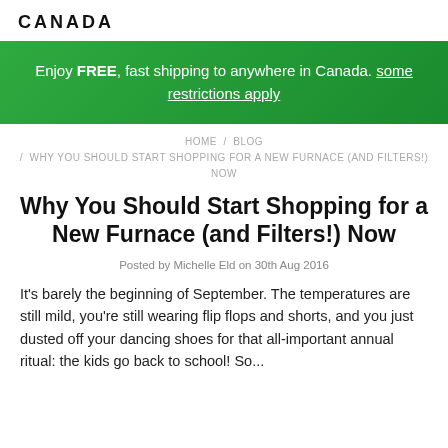CANADA
Enjoy FREE, fast shipping to anywhere in Canada. some restrictions apply
HOME / BLOG / WHY YOU SHOULD START SHOPPING FOR A NEW FURNACE (AND FILTERS!) NOW
Why You Should Start Shopping for a New Furnace (and Filters!) Now
Posted by Michelle Eld on 30th Aug 2016
It's barely the beginning of September. The temperatures are still mild, you're still wearing flip flops and shorts, and you just dusted off your dancing shoes for that all-important annual ritual: the kids go back to school! So...